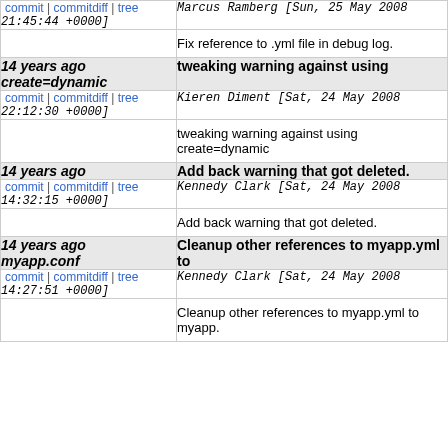commit | commitdiff | tree  Marcus Ramberg [Sun, 25 May 2008 21:45:44 +0000]
Fix reference to .yml file in debug log.
14 years ago  tweaking warning against using create=dynamic
commit | commitdiff | tree  Kieren Diment [Sat, 24 May 2008 22:12:30 +0000]
tweaking warning against using create=dynamic
14 years ago  Add back warning that got deleted.
commit | commitdiff | tree  Kennedy Clark [Sat, 24 May 2008 14:32:15 +0000]
Add back warning that got deleted.
14 years ago  Cleanup other references to myapp.yml to myapp.conf
commit | commitdiff | tree  Kennedy Clark [Sat, 24 May 2008 14:27:51 +0000]
Cleanup other references to myapp.yml to myapp.